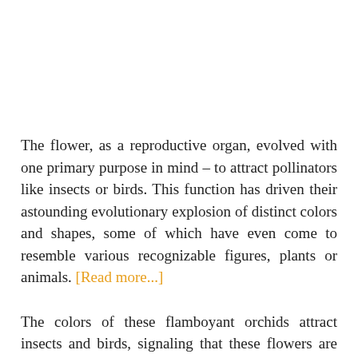The flower, as a reproductive organ, evolved with one primary purpose in mind – to attract pollinators like insects or birds. This function has driven their astounding evolutionary explosion of distinct colors and shapes, some of which have even come to resemble various recognizable figures, plants or animals. [Read more...]
The colors of these flamboyant orchids attract insects and birds, signaling that these flowers are full of tasty nectar. Their shapes, on the other hand, often evolve to attract or accommodate specific pollinators while